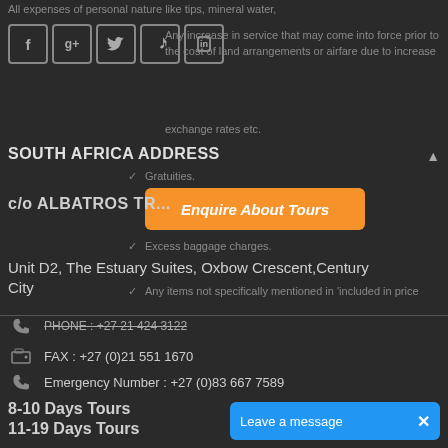All expenses of personal nature like tips, mineral water,
[Figure (infographic): Row of 5 social media icon buttons: Facebook (f), Google+ (g+), Twitter (bird), Pinterest (p), LinkedIn (in), each in a rounded square border]
Any increase in service that may come into force prior to the cost of land arrangements or airfare due to increase exchange rates etc.
SOUTH AFRICA ADDRESS
Gratuities
Enquire About Tours
c/o ALBATROS TR...
Excess baggage charges.
Unit D2, The Estuary Suites, Oxbow Crescent, Century City
Any items not specifically mentioned in 'included in price'
PHONE : +27 21 424 3122
FAX : +27 (0)21 551 1670
Emergency Number : +27 (0)83 667 7589
8-10 Days Tours
11-19 Days Tours
Leave a message